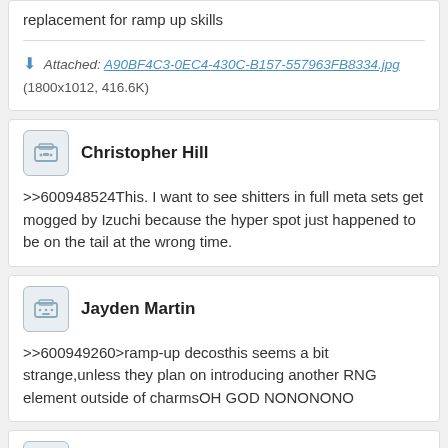replacement for ramp up skills
Attached: A90BF4C3-0EC4-430C-B157-557963FB8334.jpg (1800x1012, 416.6K)
Christopher Hill
>>600948524This. I want to see shitters in full meta sets get mogged by Izuchi because the hyper spot just happened to be on the tail at the wrong time.
Jayden Martin
>>600949260>ramp-up decosthis seems a bit strange,unless they plan on introducing another RNG element outside of charmsOH GOD NONONONO
Levi Peterson
>>600949123Rise monsters have both higher ho pool